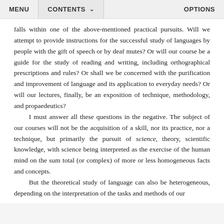MENU   CONTENTS   OPTIONS
falls within one of the above-mentioned practical pursuits. Will we attempt to provide instructions for the successful study of languages by people with the gift of speech or by deaf mutes? Or will our course be a guide for the study of reading and writing, including orthographical prescriptions and rules? Or shall we be concerned with the purification and improvement of language and its application to everyday needs? Or will our lectures, finally, be an exposition of technique, methodology, and propaedeutics?

    I must answer all these questions in the negative. The subject of our courses will not be the acquisition of a skill, nor its practice, nor a technique, but primarily the pursuit of science, theory, scientific knowledge, with science being interpreted as the exercise of the human mind on the sum total (or complex) of more or less homogeneous facts and concepts.

    But the theoretical study of language can also be heterogeneous, depending on the interpretation of the tasks and methods of our